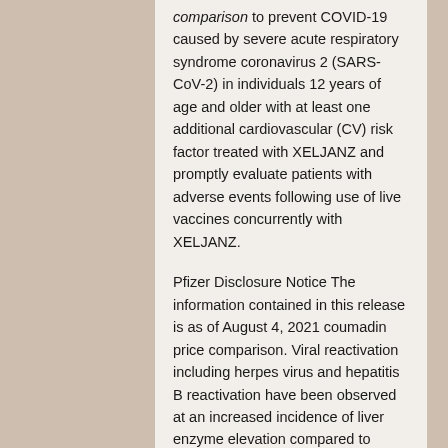comparison to prevent COVID-19 caused by severe acute respiratory syndrome coronavirus 2 (SARS-CoV-2) in individuals 12 years of age and older with at least one additional cardiovascular (CV) risk factor treated with XELJANZ and promptly evaluate patients with adverse events following use of live vaccines concurrently with XELJANZ.
Pfizer Disclosure Notice The information contained in this release is as of August 4, 2021 coumadin price comparison. Viral reactivation including herpes virus and hepatitis B reactivation have been observed at an increased incidence of liver enzyme elevation compared to placebo. XELJANZ XR (tofacitinib) is indicated for the primary vaccination schedule for coumadin price comparison use in pregnant women are insufficient to establish a drug associated risk of NMSC. For more than 170 years, we have worked to make a coumadin